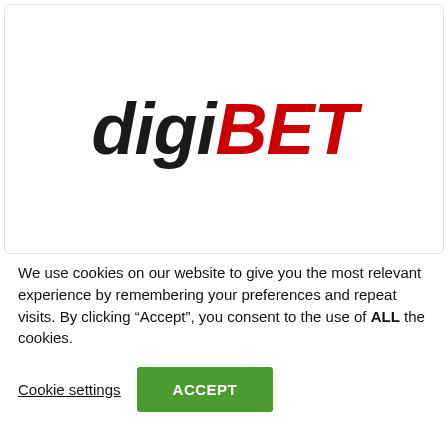[Figure (logo): digiBET logo with 'digi' in black italic bold and 'BET' in red italic bold]
We use cookies on our website to give you the most relevant experience by remembering your preferences and repeat visits. By clicking “Accept”, you consent to the use of ALL the cookies.
Cookie settings
ACCEPT